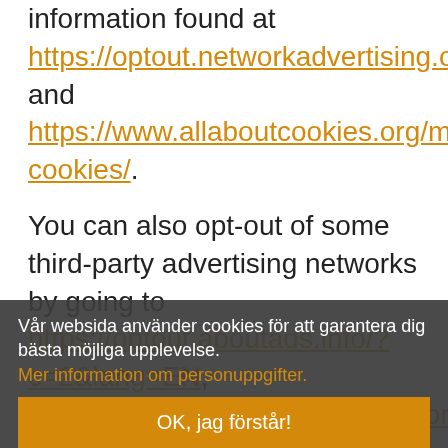information found at https://optout.networkadvertising.org/ and https://www.allaboutcookies.org/manage-cookies/.
You can also opt-out of some third-party advertising networks by going to https://optout.aboutads.info/?c=2&lang=EN, https://www.youronlinechoices.com/ (for the EU/UK), or https://youradchoices.com/appchoi ces for mobile app opt-out/ and following the directions given on these sites.
Vår websida använder cookies för att garantera dig bästa möjliga upplevelse. Mer information om personuppgifter.
OK, jag förstår!